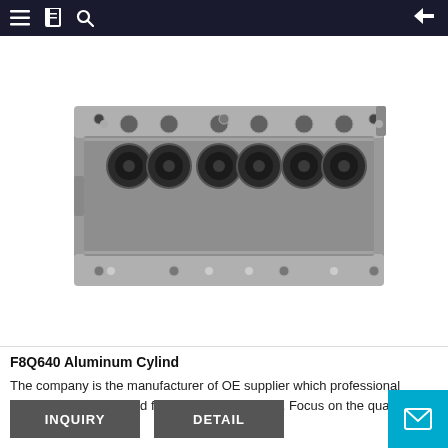Navigation bar with menu, catalog, search icons and back arrow
[Figure (photo): F8Q640 aluminum cylinder head engine component, front view showing 8 valve ports and bolt holes on a machined aluminum surface, photographed against white background]
F8Q640 Aluminum Cylind
The company is the manufacturer of OE supplier which professional aluminum cylinder head for more than 20 years. Focus on the quality and service. The
INQUIRY
DETAIL